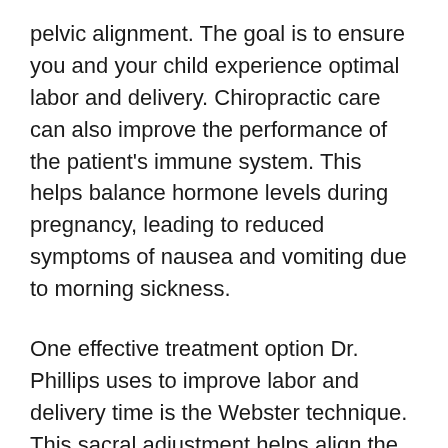pelvic alignment. The goal is to ensure you and your child experience optimal labor and delivery. Chiropractic care can also improve the performance of the patient's immune system. This helps balance hormone levels during pregnancy, leading to reduced symptoms of nausea and vomiting due to morning sickness.
One effective treatment option Dr. Phillips uses to improve labor and delivery time is the Webster technique. This sacral adjustment helps align the pelvis and uterus before labor so that the body is prepared, stable, and strong. The Webster technique also reduces muscle pain while allowing the baby to develop comfortably inside the uterus.